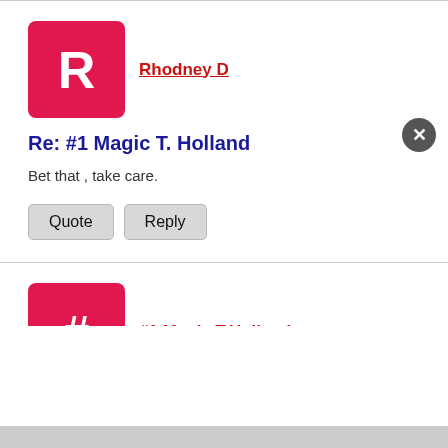[Figure (illustration): Pink/red square avatar with white letter R for user Rhodney D]
Rhodney D
Re: #1 Magic T. Holland
Bet that , take care.
Quote   Reply
[Figure (illustration): Pink/red square avatar with white hash symbol # for user #1 Magic T.Holland]
#1 Magic T.Holland
Re: #1 Magic T. Holland